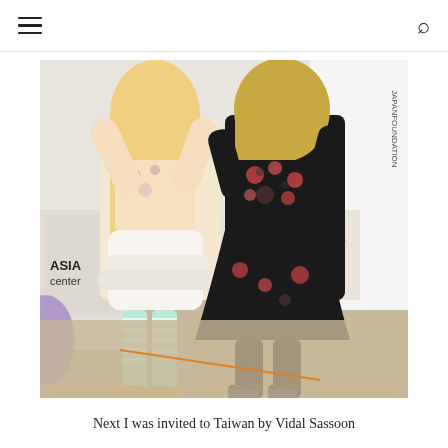☰  🔍
[Figure (photo): Two young women in Japanese street fashion / Harajuku-style outfits standing in front of Asia Center and Japan Foundation banners. Left person wears a pastel floral top, white layered skirt, mint-green striped thigh-high socks, and gold platform shoes. Right person wears a black floral dress with skull and rose print, black thigh-high stockings, and black platform boots.]
Next I was invited to Taiwan by Vidal Sassoon